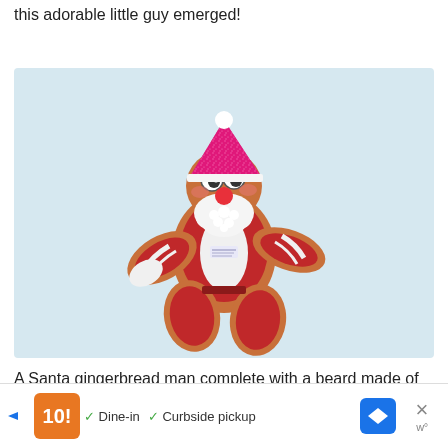this adorable little guy emerged!
[Figure (photo): A decorated gingerbread man cookie styled as Santa Claus, with a pink glittery hat, googly eyes, red nose, white fluffy beard made of cotton-like material, red icing for the suit and pants, on a light blue background.]
A Santa gingerbread man complete with a beard made of fluffb...
[Figure (other): Advertisement bar at the bottom: orange restaurant logo, checkmarks for Dine-in and Curbside pickup, blue navigation arrow icon, close X button with W logo]